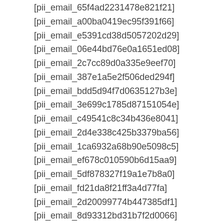[pii_email_65f4ad2231478e821f21]
[pii_email_a00ba0419ec95f391f66]
[pii_email_e5391cd38d5057202d29]
[pii_email_06e44bd76e0a1651ed08]
[pii_email_2c7cc89d0a335e9eef70]
[pii_email_387e1a5e2f506ded294f]
[pii_email_bdd5d94f7d0635127b3e]
[pii_email_3e699c1785d87151054e]
[pii_email_c49541c8c34b436e8041]
[pii_email_2d4e338c425b3379ba56]
[pii_email_1ca6932a68b90e5098c5]
[pii_email_ef678c010590b6d15aa9]
[pii_email_5df878327f19a1e7b8a0]
[pii_email_fd21da8f21ff3a4d77fa]
[pii_email_2d20099774b447385df1]
[pii_email_8d93312bd31b7f2d0066]
[pii_email_00f2e2be8446cca7ae2a]
[pii_email_93e1d03a5abf096f9dad]
[pii_email_2ccef19b114ce862c559]